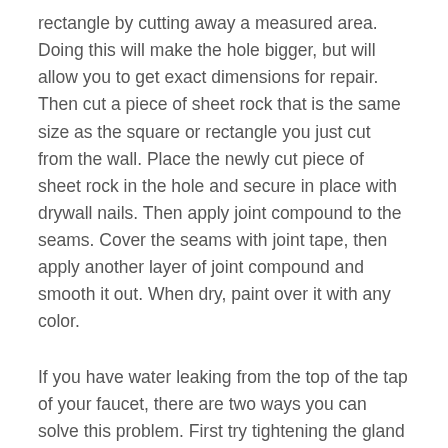rectangle by cutting away a measured area. Doing this will make the hole bigger, but will allow you to get exact dimensions for repair. Then cut a piece of sheet rock that is the same size as the square or rectangle you just cut from the wall. Place the newly cut piece of sheet rock in the hole and secure in place with drywall nails. Then apply joint compound to the seams. Cover the seams with joint tape, then apply another layer of joint compound and smooth it out. When dry, paint over it with any color.
If you have water leaking from the top of the tap of your faucet, there are two ways you can solve this problem. First try tightening the gland nut. The gland nut keeps the spindle of the tap in place. If this